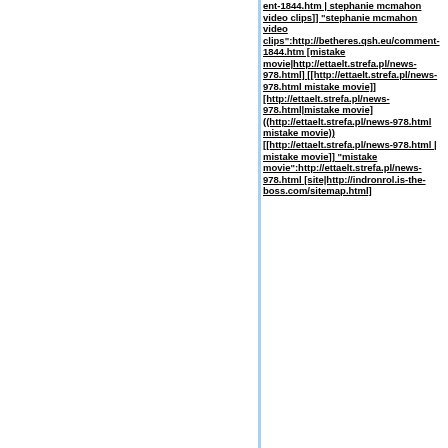ent-1844.htm | stephanie mcmahon video clips]] "stephanie mcmahon video clips":http://betheres.qsh.eu/comment-1844.htm [mistake movie|http://ettaelt.strefa.pl/news-978.html] [[http://ettaelt.strefa.pl/news-978.html mistake movie]] [http://ettaelt.strefa.pl/news-978.html|mistake movie] ((http://ettaelt.strefa.pl/news-978.html mistake movie)) [[http://ettaelt.strefa.pl/news-978.html | mistake movie]] "mistake movie":http://ettaelt.strefa.pl/news-978.html [site|http://indronrol.is-the-boss.com/sitemap.html]